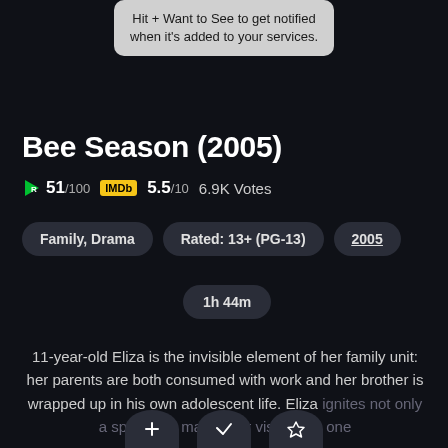Hit + Want to See to get notified when it's added to your services.
Bee Season (2005)
51/100  IMDb  5.5/10  6.9K Votes
Family, Drama
Rated: 13+ (PG-13)
2005
1h 44m
11-year-old Eliza is the invisible element of her family unit: her parents are both consumed with work and her brother is wrapped up in his own adolescent life. Eliza ignites not only a spark that makes her visible but one